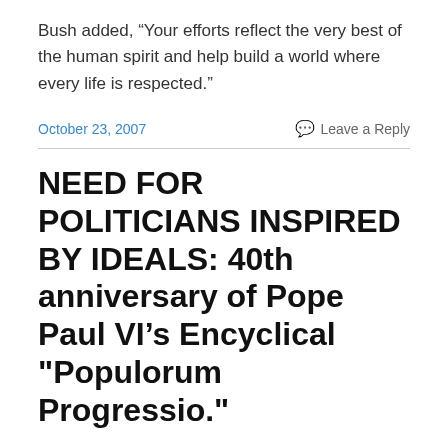Bush added, “Your efforts reflect the very best of the human spirit and help build a world where every life is respected.”
October 23, 2007
Leave a Reply
NEED FOR POLITICIANS INSPIRED BY IDEALS: 40th anniversary of Pope Paul VI’s Encyclical "Populorum Progressio."
NEED FOR POLITICIANS INSPIRED BY IDEALS
VATICAN CITY, OCT 18, 2007 (VIS) – Made public today